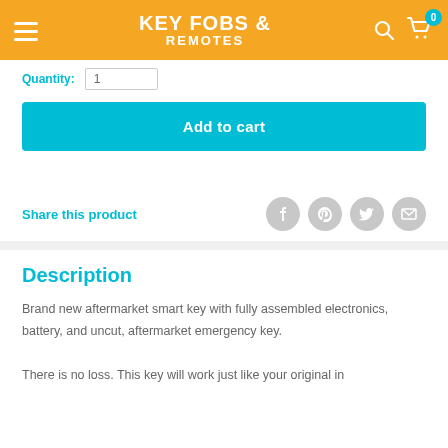KEY FOBS & REMOTES
Quantity: 1
Add to cart
Share this product
Description
Brand new aftermarket smart key with fully assembled electronics, battery, and uncut, aftermarket emergency key. There is no loss. This key will work just like your original in